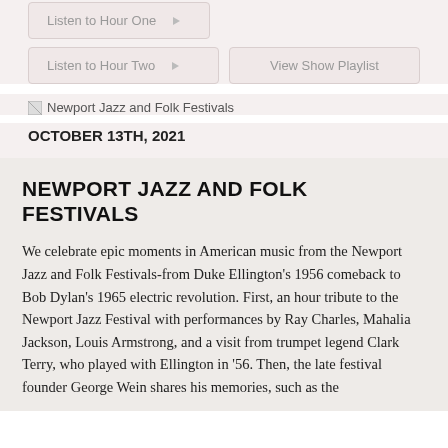[Figure (screenshot): Listen to Hour One button with play icon]
[Figure (screenshot): Listen to Hour Two button with play icon and View Show Playlist button]
[Figure (illustration): Newport Jazz and Folk Festivals image placeholder with broken image icon]
OCTOBER 13TH, 2021
NEWPORT JAZZ AND FOLK FESTIVALS
We celebrate epic moments in American music from the Newport Jazz and Folk Festivals-from Duke Ellington's 1956 comeback to Bob Dylan's 1965 electric revolution. First, an hour tribute to the Newport Jazz Festival with performances by Ray Charles, Mahalia Jackson, Louis Armstrong, and a visit from trumpet legend Clark Terry, who played with Ellington in '56. Then, the late festival founder George Wein shares his memories, such as the